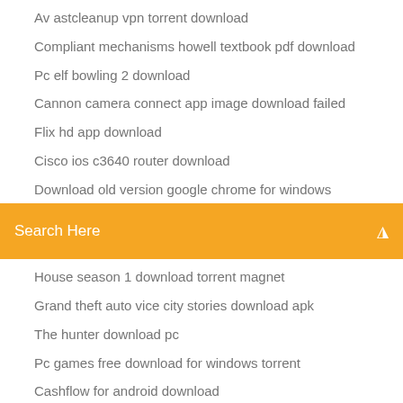Av astcleanup vpn torrent download
Compliant mechanisms howell textbook pdf download
Pc elf bowling 2 download
Cannon camera connect app image download failed
Flix hd app download
Cisco ios c3640 router download
Download old version google chrome for windows
Search Here
House season 1 download torrent magnet
Grand theft auto vice city stories download apk
The hunter download pc
Pc games free download for windows torrent
Cashflow for android download
File wont download 7 hours left
Putty downloading file incorrectly
Download the hobbit online free pdf
Download driver finder full version
Hindi vyakaran ncert pdf free download